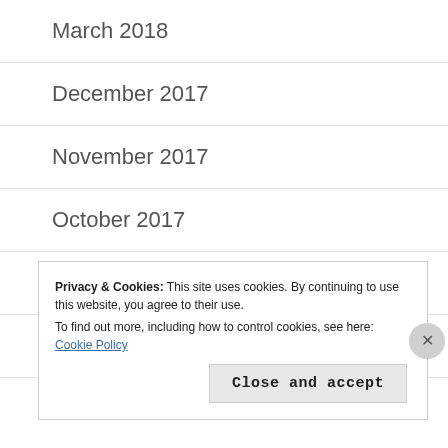March 2018
December 2017
November 2017
October 2017
August 2017
July 2017
Privacy & Cookies: This site uses cookies. By continuing to use this website, you agree to their use.
To find out more, including how to control cookies, see here: Cookie Policy
Close and accept